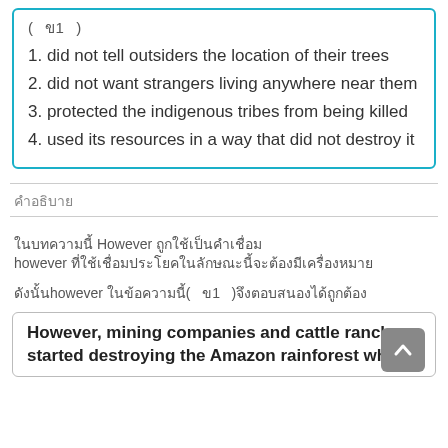( ข1 )
1. did not tell outsiders the location of their trees
2. did not want strangers living anywhere near them
3. protected the indigenous tribes from being killed
4. used its resources in a way that did not destroy it
คำอธิบาย
ในบทความนี้ However ถูกใช้เป็นคำเชื่อม however ที่ใช้เชื่อมประโยคในลักษณะนี้จะต้องมีเครื่องหมาย
ดังนั้นhowever ในข้อความนี้( ข1 )จึงตอบสนองได้ถูกต้อง
However, mining companies and cattle ranchers started destroying the Amazon rainforest which